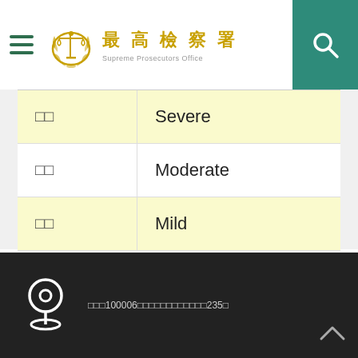最高檢察署 Supreme Prosecutors Office
|  |  |
| --- | --- |
| 嚴重 | Severe |
| 中度 | Moderate |
| 輕微 | Mild |
台北市100006中正區重慶南路二段235號